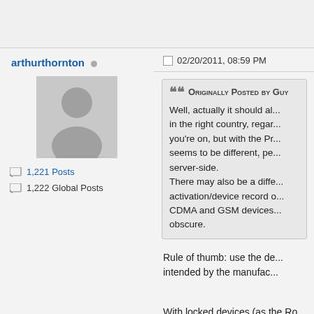arthurthornton
1,221 Posts
1,222 Global Posts
02/20/2011, 08:59 PM
Originally Posted by Guy
Well, actually it should also work if you're in the right country, regardless of what carrier you're on, but with the Pre it seems to be different, perhaps server-side.
There may also be a difference in how the activation/device record differs between CDMA and GSM devices, but that's obscure.
Rule of thumb: use the device as intended by the manufacturer.
With locked devices (as the Ro